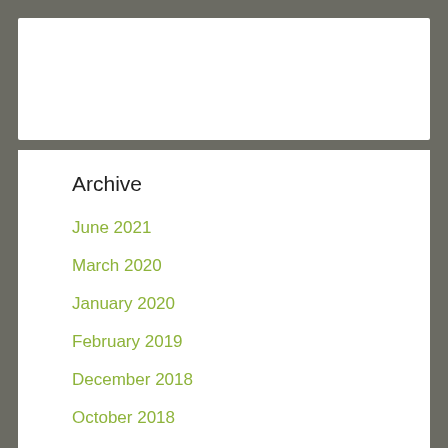Archive
June 2021
March 2020
January 2020
February 2019
December 2018
October 2018
July 2018
May 2018